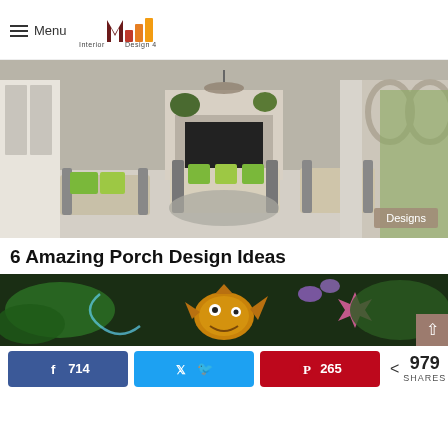Menu | Interior Design 4 | better living, better Designing
[Figure (photo): Elegant outdoor porch with striped furniture, green accent pillows, stone fireplace, arched columns, and lush garden backdrop. Badge reading 'Designs' in lower right.]
6 Amazing Porch Design Ideas
[Figure (photo): Colorful animated underwater scene with cartoon fish and sea creatures among bright tropical plants.]
714  (Facebook share button) | (Twitter share button) | 265 (Pinterest share button) | < 979 SHARES